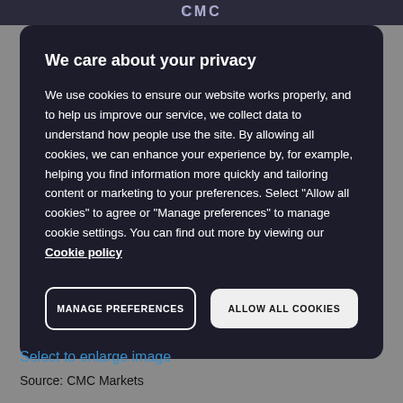CMC
We care about your privacy
We use cookies to ensure our website works properly, and to help us improve our service, we collect data to understand how people use the site. By allowing all cookies, we can enhance your experience by, for example, helping you find information more quickly and tailoring content or marketing to your preferences. Select “Allow all cookies” to agree or “Manage preferences” to manage cookie settings. You can find out more by viewing our Cookie policy
MANAGE PREFERENCES
ALLOW ALL COOKIES
Select to enlarge image
Source: CMC Markets